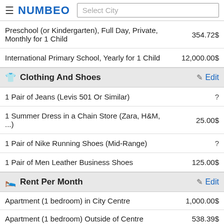NUMBEO — Select City
| Item | Value |
| --- | --- |
| Preschool (or Kindergarten), Full Day, Private, Monthly for 1 Child | 354.72$ |
| International Primary School, Yearly for 1 Child | 12,000.00$ |
Clothing And Shoes — Edit
| Item | Value |
| --- | --- |
| 1 Pair of Jeans (Levis 501 Or Similar) | ? |
| 1 Summer Dress in a Chain Store (Zara, H&M, ...) | 25.00$ |
| 1 Pair of Nike Running Shoes (Mid-Range) | ? |
| 1 Pair of Men Leather Business Shoes | 125.00$ |
Rent Per Month — Edit
| Item | Value |
| --- | --- |
| Apartment (1 bedroom) in City Centre | 1,000.00$ |
| Apartment (1 bedroom) Outside of Centre | 538.39$ |
| Apartment (3 bedrooms) in City Centre | 1,348.09$ |
| Apartment (3 bedrooms) Outside of Centre | 886.07$ |
Buy Apartment Price — Edit
Price per Square Feet to Buy Apartment in City